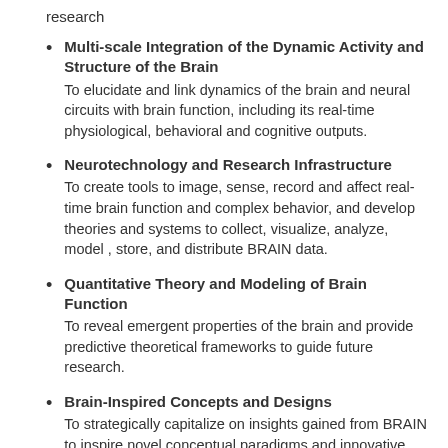research
Multi-scale Integration of the Dynamic Activity and Structure of the Brain
To elucidate and link dynamics of the brain and neural circuits with brain function, including its real-time physiological, behavioral and cognitive outputs.
Neurotechnology and Research Infrastructure
To create tools to image, sense, record and affect real-time brain function and complex behavior, and develop theories and systems to collect, visualize, analyze, model , store, and distribute BRAIN data.
Quantitative Theory and Modeling of Brain Function
To reveal emergent properties of the brain and provide predictive theoretical frameworks to guide future research.
Brain-Inspired Concepts and Designs
To strategically capitalize on insights gained from BRAIN to inspire novel conceptual paradigms and innovative technologies and designs that will benefit society.